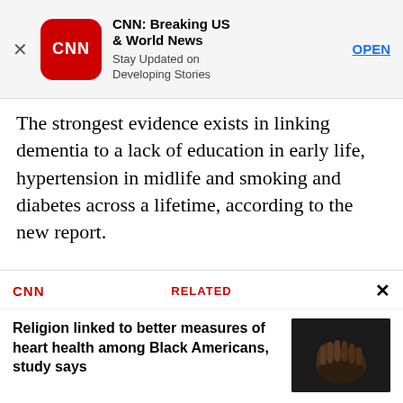[Figure (screenshot): CNN Breaking US & World News app advertisement banner with CNN logo icon, title, subtitle 'Stay Updated on Developing Stories', and OPEN button]
The strongest evidence exists in linking dementia to a lack of education in early life, hypertension in midlife and smoking and diabetes across a lifetime, according to the new report.
“There’s also relatively strong evidence that people in low-education countries have a higher risk for Alzheimer’s and other dementias,” said Keith Fargo, director of scientific programs for the Alzheimer’s Association. “(This) can be controlled across the
[Figure (screenshot): CNN Related article box featuring headline 'Religion linked to better measures of heart health among Black Americans, study says' with thumbnail image of clasped hands on dark background]